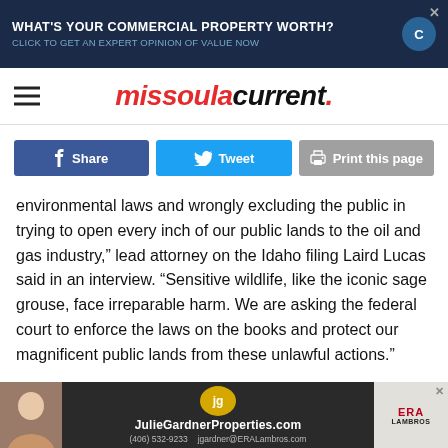[Figure (screenshot): Top advertisement banner: dark navy background with text 'WHAT'S YOUR COMMERCIAL PROPERTY WORTH?' and 'CLICK TO GET AN EXPERT OPINION OF VALUE NOW' with a circular icon and close X button]
missoula current.
Share
Tweet
Print this page
environmental laws and wrongly excluding the public in trying to open every inch of our public lands to the oil and gas industry,” lead attorney on the Idaho filing Laird Lucas said in an interview. “Sensitive wildlife, like the iconic sage grouse, face irreparable harm. We are asking the federal court to enforce the laws on the books and protect our magnificent public lands from these unlawful actions.”
Lucas is with the nonprofit group Advocates for the West
[Figure (screenshot): Bottom advertisement for JulieGardnerProperties.com with ERA Lambros branding, photo of a woman agent, jg logo circle, contact phone (406) 532-9233 and email jgardner@ERALambros.com]